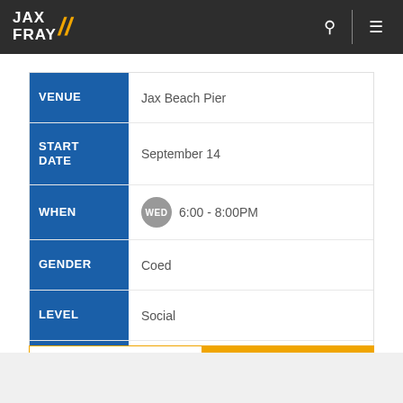JAX FRAY
| Label | Value |
| --- | --- |
| VENUE | Jax Beach Pier |
| START DATE | September 14 |
| WHEN | WED  6:00 - 8:00PM |
| GENDER | Coed |
| LEVEL | Social |
| BAR | The Brix Taphouse |
OPEN  Get Info »